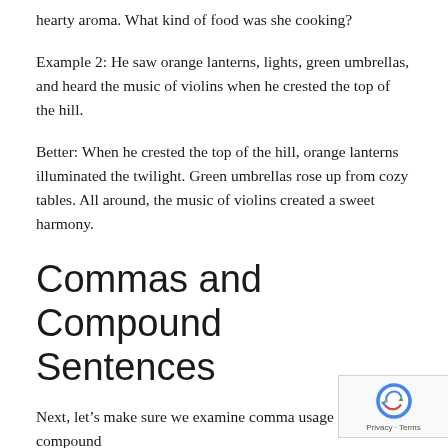hearty aroma. What kind of food was she cooking?
Example 2: He saw orange lanterns, lights, green umbrellas, and heard the music of violins when he crested the top of the hill.
Better: When he crested the top of the hill, orange lanterns illuminated the twilight. Green umbrellas rose up from cozy tables. All around, the music of violins created a sweet harmony.
Commas and Compound Sentences
Next, let's make sure we examine comma usage a... compound sentences. The best way to do this is using...